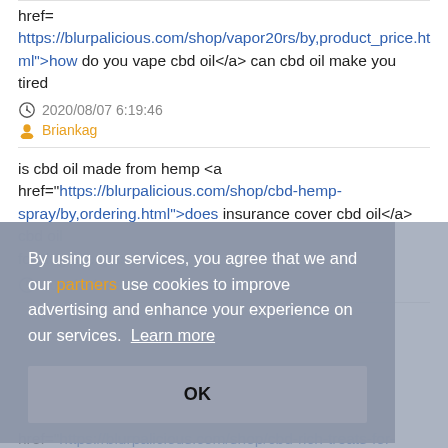href= https://blurpalicious.com/shop/vapor20rs/by,product_price.html">how do you vape cbd oil</a> can cbd oil make you tired
2020/08/07 6:19:46
Briankag
is cbd oil made from hemp <a href="https://blurpalicious.com/shop/cbd-hemp-spray/by,ordering.html">does insurance cover cbd oil</a> cbd oil for dog allergies
2020/08/07 9:45:10
By using our services, you agree that we and our partners use cookies to improve advertising and enhance your experience on our services.  Learn more
OK
href="https://blurpalicious.com/shop/cbd-rich-treats-for-